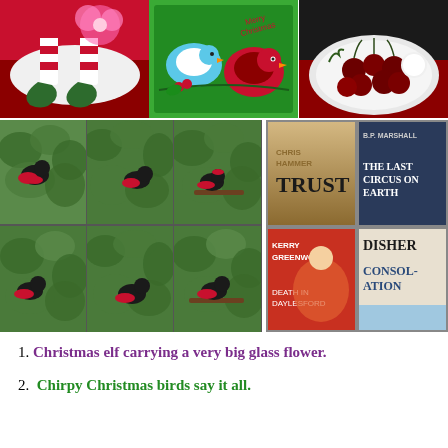[Figure (photo): Three Christmas photos in top row: elf shoes with curled toes on red/white background with pink flower, Christmas card with cartoon birds (blue and red) on green background, plate of dark red cherries on white plate against red background]
[Figure (photo): Grid of 6 photos showing red-and-black birds (Australian king parrots) in green tree canopy, plus 4 book covers: Trust by Chris Hammer, The Last Circus on Earth by B.P. Marshall, Death in Daylesford by Kerry Greenwood, Consolation by Disher]
1. Christmas elf carrying a very big glass flower.
2. Chirpy Christmas birds say it all.